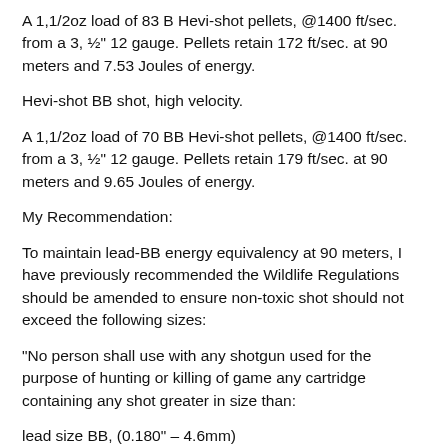A 1,1/2oz load of 83 B Hevi-shot pellets, @1400 ft/sec. from a 3, ½" 12 gauge. Pellets retain 172 ft/sec. at 90 meters and 7.53 Joules of energy.
Hevi-shot BB shot, high velocity.
A 1,1/2oz load of 70 BB Hevi-shot pellets, @1400 ft/sec. from a 3, ½" 12 gauge. Pellets retain 179 ft/sec. at 90 meters and 9.65 Joules of energy.
My Recommendation:
To maintain lead-BB energy equivalency at 90 meters, I have previously recommended the Wildlife Regulations should be amended to ensure non-toxic shot should not exceed the following sizes:
"No person shall use with any shotgun used for the purpose of hunting or killing of game any cartridge containing any shot greater in size than:
lead size BB, (0.180" – 4.6mm)
steel (soft-iron) size TT, (0.210" – 5.3mm)